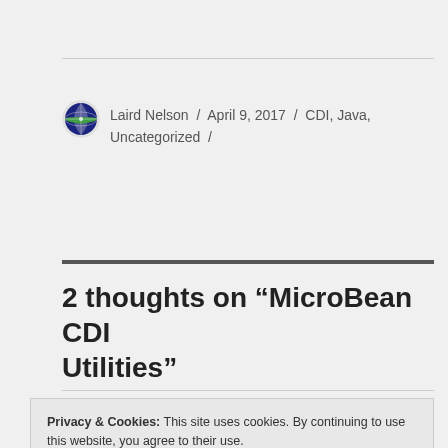Laird Nelson / April 9, 2017 / CDI, Java, Uncategorized /
2 thoughts on “MicroBean CDI Utilities”
Privacy & Cookies: This site uses cookies. By continuing to use this website, you agree to their use.
To find out more, including how to control cookies, see here:
Cookie Policy
Close and accept
Pingback: MicroBean Main | Blame Laird